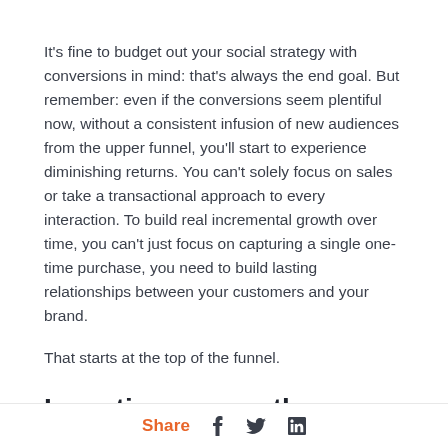It's fine to budget out your social strategy with conversions in mind: that's always the end goal. But remember: even if the conversions seem plentiful now, without a consistent infusion of new audiences from the upper funnel, you'll start to experience diminishing returns. You can't solely focus on sales or take a transactional approach to every interaction. To build real incremental growth over time, you can't just focus on capturing a single one-time purchase, you need to build lasting relationships between your customers and your brand.
That starts at the top of the funnel.
Investing across the funnel unlocks the full potential of your
Share  f  [twitter]  in